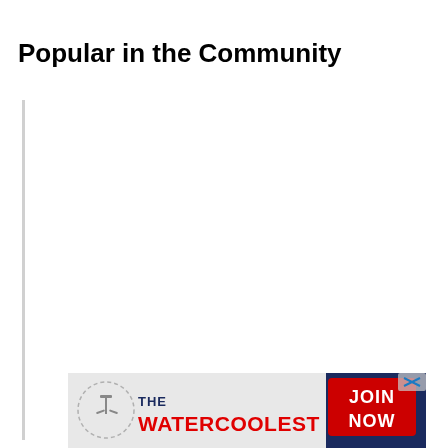Popular in the Community
[Figure (illustration): Vertical light gray dividing line on the left side of the page content area]
[Figure (other): Advertisement banner for 'The Water Coolest' with logo, red bold text, and a dark blue 'JOIN NOW' button with an X close icon]